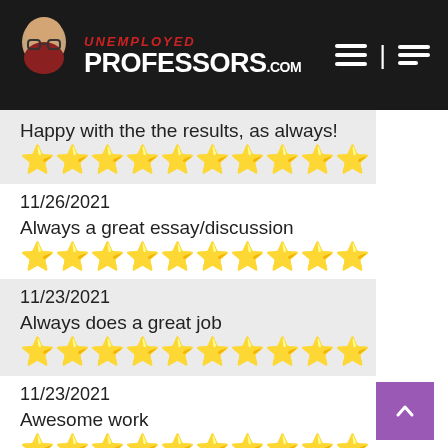UNEMPLOYED PROFESSORS.com
Happy with the the results, as always!
[Figure (other): 10 green stars rating]
11/26/2021
Always a great essay/discussion
[Figure (other): 10 green stars rating]
11/23/2021
Always does a great job
[Figure (other): 10 green stars rating]
11/23/2021
Awesome work
[Figure (other): 10 green stars rating]
11/22/2021